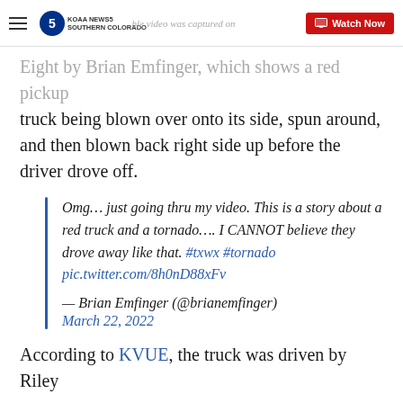KOAA News5 Southern Colorado — Watch Now
Eight by Brian Emfinger, which shows a red pickup truck being blown over onto its side, spun around, and then blown back right side up before the driver drove off.
Omg… just going thru my video. This is a story about a red truck and a tornado…. I CANNOT believe they drove away like that. #txwx #tornado pic.twitter.com/8h0nD88xFv

— Brian Emfinger (@brianemfinger)
March 22, 2022
According to KVUE, the truck was driven by Riley